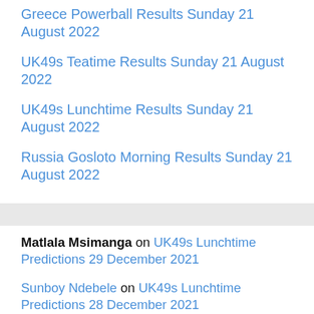Greece Powerball Results Sunday 21 August 2022
UK49s Teatime Results Sunday 21 August 2022
UK49s Lunchtime Results Sunday 21 August 2022
Russia Gosloto Morning Results Sunday 21 August 2022
Matlala Msimanga on UK49s Lunchtime Predictions 29 December 2021
Sunboy Ndebele on UK49s Lunchtime Predictions 28 December 2021
ITUMELENG on UK49s Teatime Predictions 26 December 2021